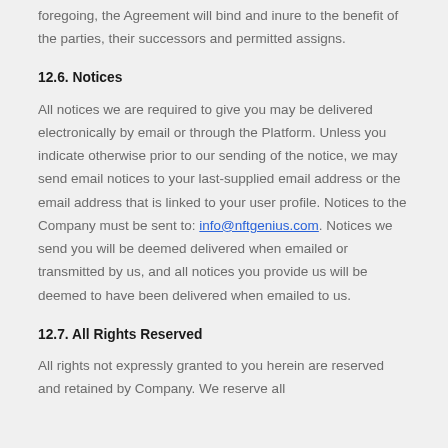foregoing, the Agreement will bind and inure to the benefit of the parties, their successors and permitted assigns.
12.6. Notices
All notices we are required to give you may be delivered electronically by email or through the Platform. Unless you indicate otherwise prior to our sending of the notice, we may send email notices to your last-supplied email address or the email address that is linked to your user profile. Notices to the Company must be sent to: info@nftgenius.com. Notices we send you will be deemed delivered when emailed or transmitted by us, and all notices you provide us will be deemed to have been delivered when emailed to us.
12.7. All Rights Reserved
All rights not expressly granted to you herein are reserved and retained by Company. We reserve all